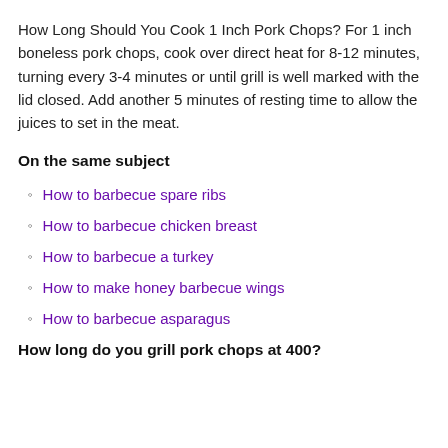How Long Should You Cook 1 Inch Pork Chops? For 1 inch boneless pork chops, cook over direct heat for 8-12 minutes, turning every 3-4 minutes or until grill is well marked with the lid closed. Add another 5 minutes of resting time to allow the juices to set in the meat.
On the same subject
How to barbecue spare ribs
How to barbecue chicken breast
How to barbecue a turkey
How to make honey barbecue wings
How to barbecue asparagus
How long do you grill pork chops at 400?